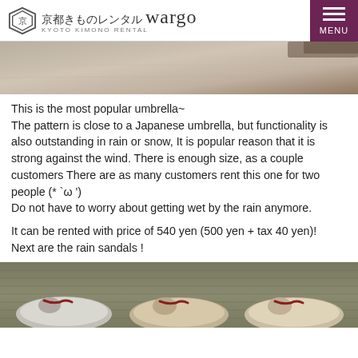京都きものレンタル wargo KYOTO KIMONO RENTAL | MENU
[Figure (photo): Top portion of an umbrella or fabric item on a surface, partially cropped]
This is the most popular umbrella~
The pattern is close to a Japanese umbrella, but functionality is also outstanding in rain or snow, It is popular reason that it is strong against the wind. There is enough size, as a couple customers There are as many customers rent this one for two people (* `ω ')
Do not have to worry about getting wet by the rain anymore.
It can be rented with price of 540 yen (500 yen + tax 40 yen)!
Next are the rain sandals !
[Figure (photo): Three pairs of Japanese rain sandals (geta/zori) arranged on a green mat/towel background]